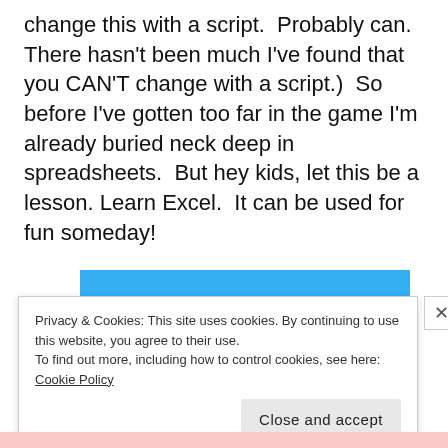change this with a script.  Probably can.  There hasn't been much I've found that you CAN'T change with a script.)  So before I've gotten too far in the game I'm already buried neck deep in spreadsheets.  But hey kids, let this be a lesson. Learn Excel.  It can be used for fun someday!
[Figure (photo): Person in white shirt leaping horizontally against a bright blue sky background, arms outstretched]
Privacy & Cookies: This site uses cookies. By continuing to use this website, you agree to their use.
To find out more, including how to control cookies, see here: Cookie Policy
Close and accept